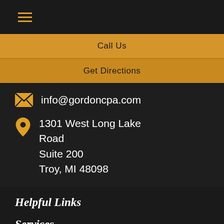≡ (hamburger menu)
Call Us
Get Directions
info@gordoncpa.com
1301 West Long Lake Road
Suite 200
Troy, MI 48098
Helpful Links
Services
Industries